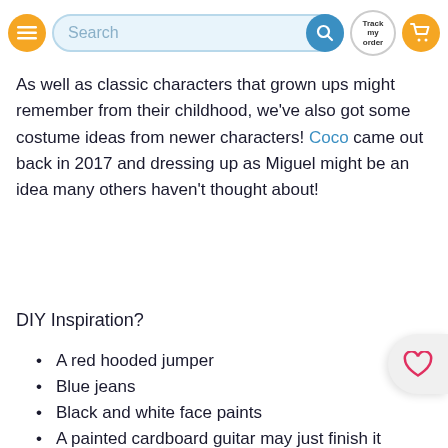Search | Track my order
As well as classic characters that grown ups might remember from their childhood, we've also got some costume ideas from newer characters! Coco came out back in 2017 and dressing up as Miguel might be an idea many others haven't thought about!
DIY Inspiration?
A red hooded jumper
Blue jeans
Black and white face paints
A painted cardboard guitar may just finish it off.